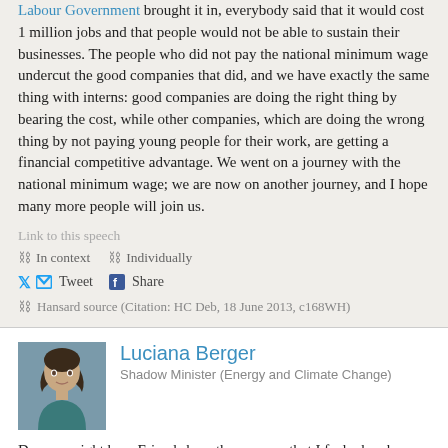Labour Government brought it in, everybody said that it would cost 1 million jobs and that people would not be able to sustain their businesses. The people who did not pay the national minimum wage undercut the good companies that did, and we have exactly the same thing with interns: good companies are doing the right thing by bearing the cost, while other companies, which are doing the wrong thing by not paying young people for their work, are getting a financial competitive advantage. We went on a journey with the national minimum wage; we are now on another journey, and I hope many more people will join us.
Link to this speech
In context   Individually
Tweet  Share
Hansard source (Citation: HC Deb, 18 June 2013, c168WH)
Luciana Berger
Shadow Minister (Energy and Climate Change)
Does my right hon. Friend share the concern that I feel when hon. Members talk about interns supporting their internship by doing paid work in the evenings or at weekends? Unfortunately, that is difficult